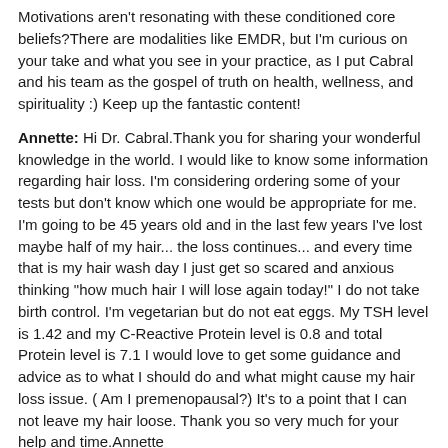Motivations aren't resonating with these conditioned core beliefs?There are modalities like EMDR, but I'm curious on your take and what you see in your practice, as I put Cabral and his team as the gospel of truth on health, wellness, and spirituality :) Keep up the fantastic content!
Annette: Hi Dr. Cabral.Thank you for sharing your wonderful knowledge in the world. I would like to know some information regarding hair loss. I'm considering ordering some of your tests but don't know which one would be appropriate for me. I'm going to be 45 years old and in the last few years I've lost maybe half of my hair... the loss continues... and every time that is my hair wash day I just get so scared and anxious thinking "how much hair I will lose again today!" I do not take birth control. I'm vegetarian but do not eat eggs. My TSH level is 1.42 and my C-Reactive Protein level is 0.8 and total Protein level is 7.1 I would love to get some guidance and advice as to what I should do and what might cause my hair loss issue. ( Am I premenopausal?) It's to a point that I can not leave my hair loose. Thank you so very much for your help and time.Annette
Joanna: Hi Dr Cabral I have a few questions.1. What would you suggest for ovarian cysts and what can cause this? 2. Iv been having upper left abdominal bloating for a few months now usually after eating or if im a little stressd around where the stomach is situated i think i may gastritis or bile reflux. I have candida and bacterial overgrowth high histamine issues and currently doing the CBO. What do you suggest i can do to heal this naturally. I want to avoid a endoscopy if i can? 3. What are your thoughts on slippery elm in healing the gut and even treating gastritis. thanks im currently doing IHP and